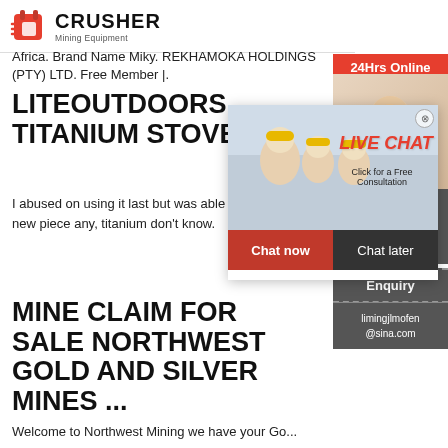[Figure (logo): Crusher Mining Equipment logo with red shopping bag icon and bold CRUSHER text]
Africa. Brand Name Miky. REKHAMOKA HOLDINGS (PTY) LTD. Free Member |.
LITEOUTDOORS TITANIUM STOVE
I abused on using it last but was able a new piece any, titanium don't know.
MINE CLAIM FOR SALE NORTHWEST GOLD AND SILVER MINES ...
Welcome to Northwest Mining we have your Go...
[Figure (screenshot): Live Chat popup overlay with construction workers image, LIVE CHAT heading in red italic, Click for a Free Consultation subtitle, Chat now and Chat later buttons]
24Hrs Online
Need questions & suggestion?
Chat Now
Enquiry
limingjlmofen@sina.com